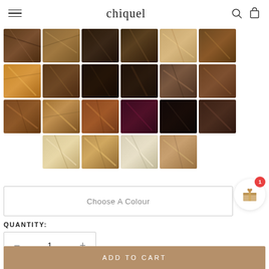chiquel
[Figure (photo): Grid of hair color swatches showing various shades of brown, blonde, dark brown, auburn, burgundy, and highlighted tones arranged in 4 rows]
Choose A Colour
QUANTITY:
1
ADD TO CART